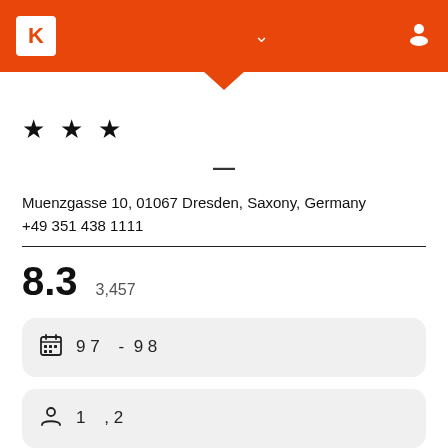[Figure (screenshot): Orange app header bar with white K logo box on left, chevron down arrow in center, person/user icon on right. Orange triangular notch pointing down at bottom center of header.]
★ ★ ★
-
Muenzgasse 10, 01067 Dresden, Saxony, Germany
+49 351 438 1111
8.3    3,457
9 7   -   9 8
1   , 2